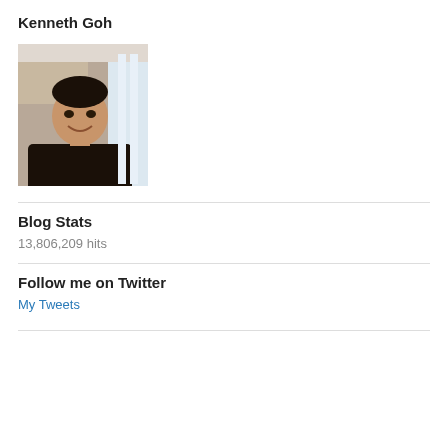Kenneth Goh
[Figure (photo): Portrait photo of Kenneth Goh, a man smiling, wearing dark clothing, indoor background with bright lighting]
Blog Stats
13,806,209 hits
Follow me on Twitter
My Tweets